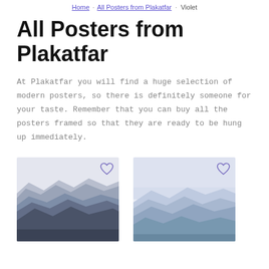Home · All Posters from Plakatfar · Violet
All Posters from Plakatfar
At Plakatfar you will find a huge selection of modern posters, so there is definitely someone for your taste. Remember that you can buy all the posters framed so that they are ready to be hung up immediately.
[Figure (photo): Poster image of layered dark blue-grey mountain ranges receding into misty distance, with rocky foreground]
[Figure (photo): Poster image of soft lavender-blue misty mountains with gentle gradient sky]